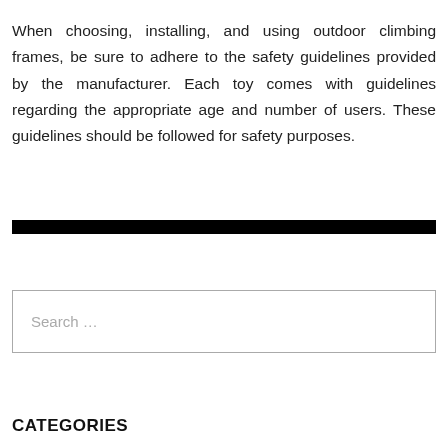When choosing, installing, and using outdoor climbing frames, be sure to adhere to the safety guidelines provided by the manufacturer. Each toy comes with guidelines regarding the appropriate age and number of users. These guidelines should be followed for safety purposes.
[Figure (other): A thick black horizontal divider bar]
Search …
CATEGORIES